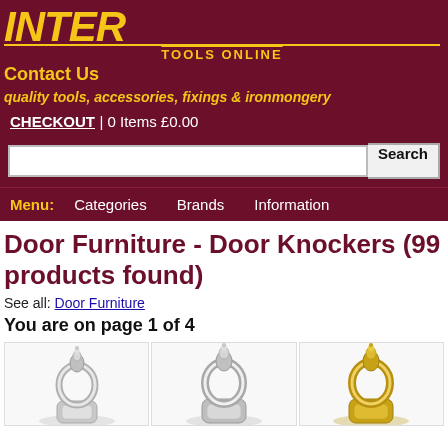INTER TOOLS ONLINE
Contact Us
quality tools, accessories, fixings & ironmongery
CHECKOUT | 0 Items £0.00
Door Furniture - Door Knockers (99 products found)
See all: Door Furniture
You are on page 1 of 4
[Figure (photo): Three door knocker product images showing chrome and brass finishes]